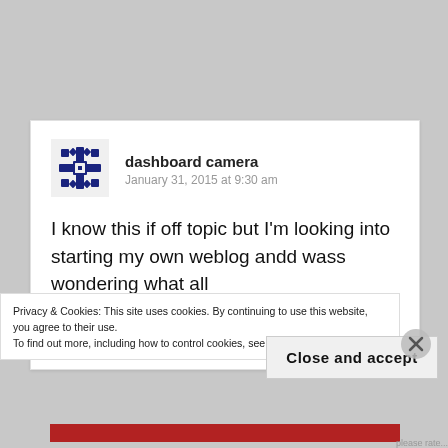[Figure (logo): Blue geometric snowflake/grid pattern avatar icon for dashboard camera commenter]
dashboard camera
January 31, 2015 at 9:30 am
I know this if off topic but I'm looking into starting my own weblog andd wass wondering what all is needed to get set up? I'm assuming having a
Privacy & Cookies: This site uses cookies. By continuing to use this website, you agree to their use.
To find out more, including how to control cookies, see here: Cookie Policy
Close and accept